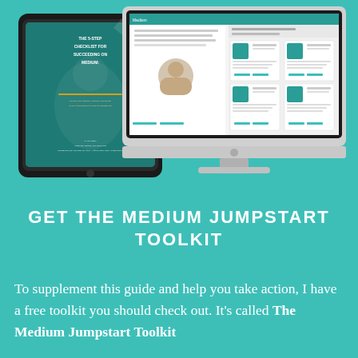[Figure (illustration): A tablet device showing a checklist guide cover titled 'The 5-Step Checklist for Succeeding on Medium' on teal background, alongside an iMac desktop monitor displaying a Medium article page with a profile photo and content cards, all on a teal background.]
GET THE MEDIUM JUMPSTART TOOLKIT
To supplement this guide and help you take action, I have a free toolkit you should check out. It's called The Medium Jumpstart Toolkit